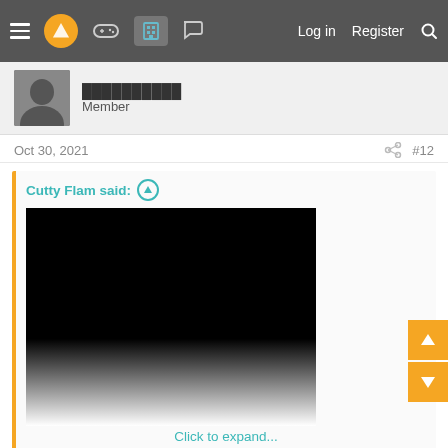Navigation bar with hamburger menu, logo, controller icon, building icon, chat icon, Log in, Register, Search
Member
Oct 30, 2021
#12
Cutty Flam said:
[Figure (photo): Spoiler image: black image fading to white at bottom with 'Click to expand...' link]
Click to expand...
I played Code Veronica quite late and it's up there as one of the best Resident Evil games. Classic RE and Claire is a great protogonist. Quite a lengthy game as well with a good story.